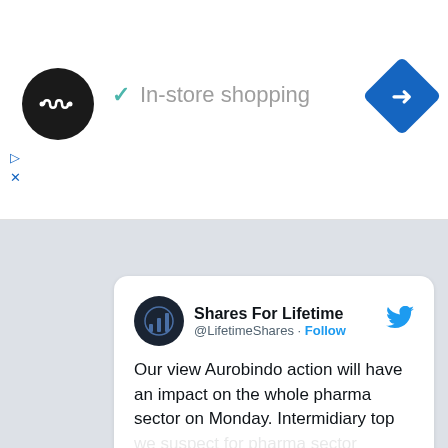[Figure (screenshot): Ad banner with circular black logo with infinity symbol, 'In-store shopping' text with checkmark, and blue diamond navigation icon on right]
[Figure (screenshot): Tweet card from Shares For Lifetime (@LifetimeShares) with Twitter bird logo, tweet text about Aurobindo action impact on pharma sector, timestamp 4:10 PM Feb 21 2020, like/reply/copy link actions, and Explore button]